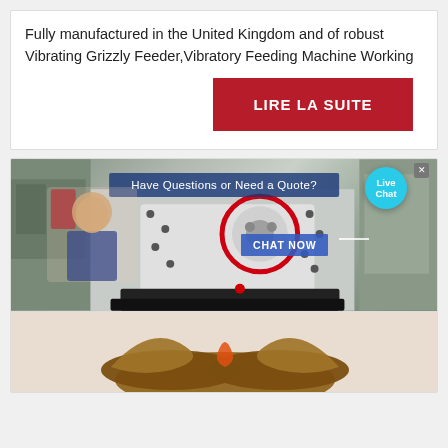Fully manufactured in the United Kingdom and of robust Vibrating Grizzly Feeder,Vibratory Feeding Machine Working
[Figure (other): Red button/banner labeled LIRE LA SUITE]
[Figure (photo): Industrial machinery photo with live chat overlay showing 'Have Questions or Need a Quote?' banner and 'CHAT NOW' button, with a 'Live Chat' bubble in top right corner. An X close button is visible.]
[Figure (photo): Bottom portion showing leather boots/shoes against a light background.]